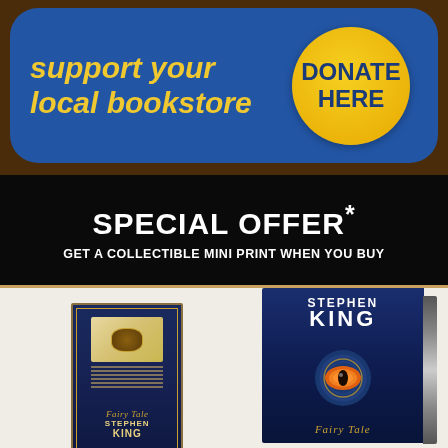[Figure (infographic): Blue rounded banner on brown background with yellow text 'support your local bookstore' and a yellow donate circle button saying 'DONATE HERE']
SPECIAL OFFER*
GET A COLLECTIBLE MINI PRINT WHEN YOU BUY
[Figure (photo): Two versions of Stephen King's Fairy Tale book cover - a mini print on the left and the full hardcover on the right, shown against a light cream background]